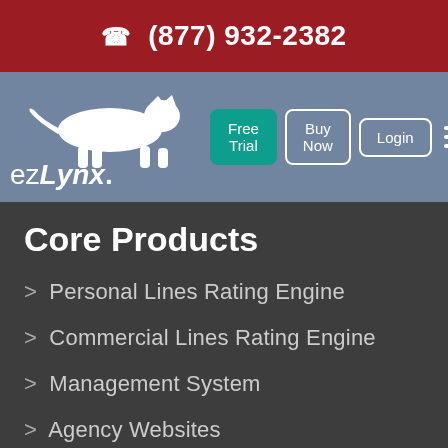(877) 932-2382
[Figure (logo): EZLynx logo with white running lynx/cat silhouette above the text 'EZLynx.' on a blue-grey navigation bar]
Core Products
> Personal Lines Rating Engine
> Commercial Lines Rating Engine
> Management System
> Agency Websites
> Consumer Quoting